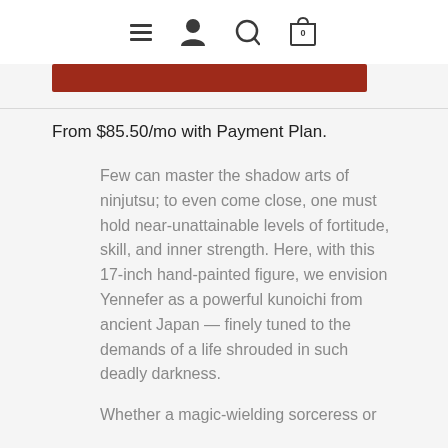≡ 👤 🔍 🛍️ 0
[Figure (other): Red rectangular button/bar]
From $85.50/mo with Payment Plan.
Few can master the shadow arts of ninjutsu; to even come close, one must hold near-unattainable levels of fortitude, skill, and inner strength. Here, with this 17-inch hand-painted figure, we envision Yennefer as a powerful kunoichi from ancient Japan — finely tuned to the demands of a life shrouded in such deadly darkness.
Whether a magic-wielding sorceress or